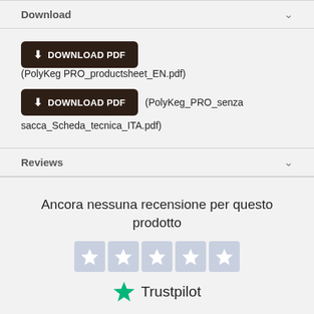Download
DOWNLOAD PDF (PolyKeg PRO_productsheet_EN.pdf)
DOWNLOAD PDF (PolyKeg_PRO_senza sacca_Scheda_tecnica_ITA.pdf)
Reviews
Ancora nessuna recensione per questo prodotto
[Figure (other): Five grey star rating boxes with white star icons, then Trustpilot logo with green star]